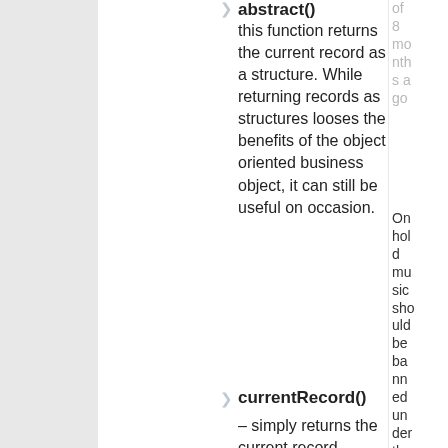abstract() this function returns the current record as a structure. While returning records as structures looses the benefits of the object oriented business object, it can still be useful on occasion.
8 months ago
On hold music should be banned under the Geneva Convention
currentRecord() – simply returns the current record
On hold music should be banned under the Geneva Convention